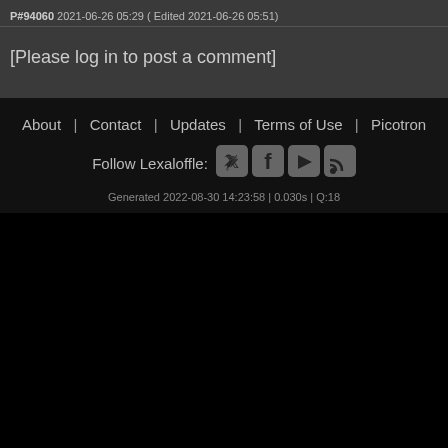P#94060 2021-06-26 05:29 ( Edited 2021-06-26 05:51)
[Please log in to post a comment]
About | Contact | Updates | Terms of Use | Picotron
Follow Lexaloffle:
Generated 2022-08-30 14:23:58 | 0.030s | Q:18